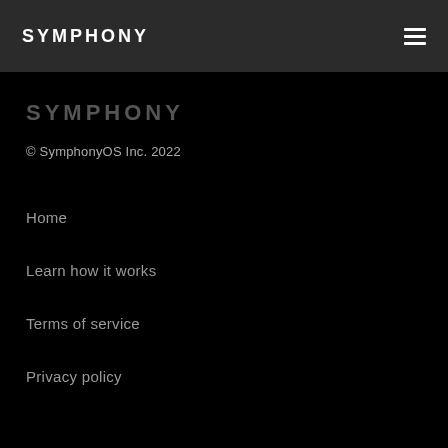SYMPHONY
SYMPHONY
© SymphonyOS Inc. 2022
Home
Learn how it works
Terms of service
Privacy policy